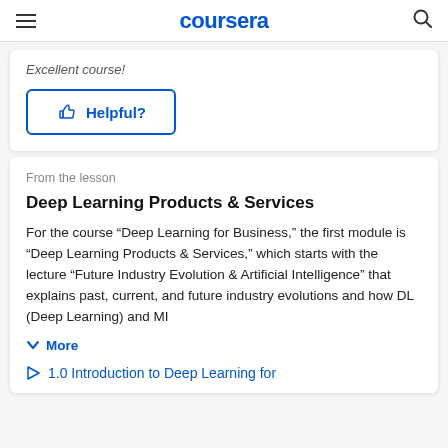coursera
Excellent course!
Helpful?
From the lesson
Deep Learning Products & Services
For the course “Deep Learning for Business,” the first module is “Deep Learning Products & Services,” which starts with the lecture “Future Industry Evolution & Artificial Intelligence” that explains past, current, and future industry evolutions and how DL (Deep Learning) and MI
More
1.0 Introduction to Deep Learning for